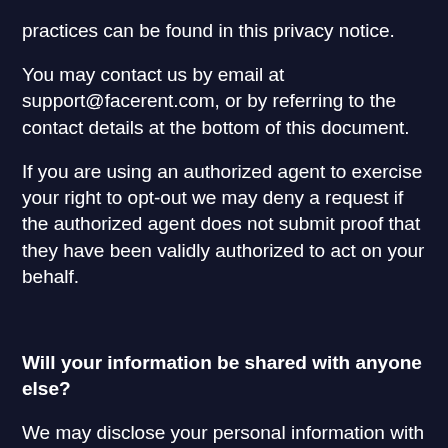practices can be found in this privacy notice.
You may contact us by email at support@facerent.com, or by referring to the contact details at the bottom of this document.
If you are using an authorized agent to exercise your right to opt-out we may deny a request if the authorized agent does not submit proof that they have been validly authorized to act on your behalf.
Will your information be shared with anyone else?
We may disclose your personal information with our service providers pursuant to a written contract between us and each service provider. Each service